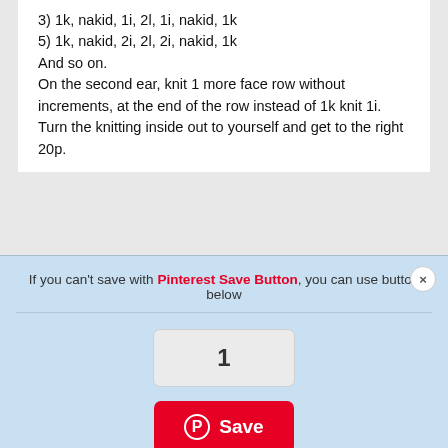3) 1k, nakid, 1i, 2l, 1i, nakid, 1k
5) 1k, nakid, 2i, 2l, 2i, nakid, 1k
And so on.
On the second ear, knit 1 more face row without increments, at the end of the row instead of 1k knit 1i. Turn the knitting inside out to yourself and get to the right 20p.
[Figure (screenshot): Pinterest Save Button overlay with counter showing '1' and a red Save button]
starts from the knit (type casting loop at the back of the head).
In the next row to make increases:
1l, increase face, 1l, increase face, 2l, increase face, 1l, increase face, 1l, 1i, increase purl, 1i, 2l, 2i, 2l, 1i, increase purl, 1i - 8 times. Total 176 loops.

Pattern repeat 22 loops and 10 rows, repeated 8 times.

Verbal description of the pattern:
1, 3, 5) 10l, 3i, braid 2, 2i, braid 2, 3i - 8 times
2) all even rows knit on the pattern
7) braid 10, 3i, braid 2, 2i, braid 2, 3i